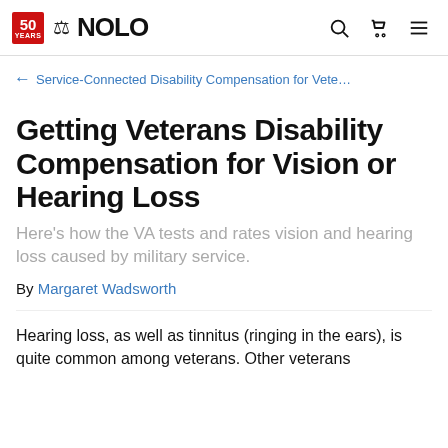NOLO — 50 YEARS
← Service-Connected Disability Compensation for Vete…
Getting Veterans Disability Compensation for Vision or Hearing Loss
Here's how the VA tests and rates vision and hearing loss caused by military service.
By Margaret Wadsworth
Hearing loss, as well as tinnitus (ringing in the ears), is quite common among veterans. Other veterans…